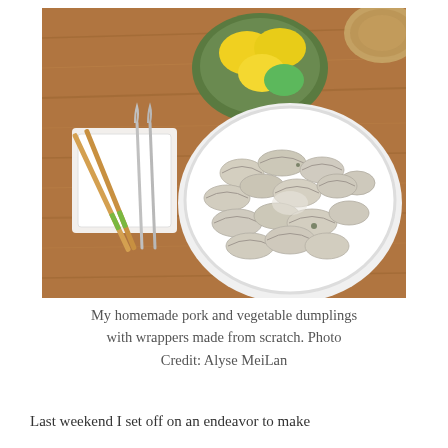[Figure (photo): Overhead/top-down view of a wooden table with a large white bowl filled with homemade pork and vegetable dumplings (jiaozi). To the left is a white square plate with chopsticks and two forks. In the upper center is a green bowl with lemons and a lime. In the upper right corner is a partial view of a woven/cork coaster.]
My homemade pork and vegetable dumplings with wrappers made from scratch. Photo Credit: Alyse MeiLan
Last weekend I set off on an endeavor to make